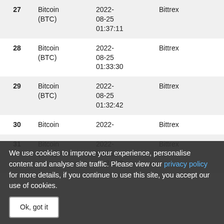| # | Asset | Date/Time | Exchange | Value |
| --- | --- | --- | --- | --- |
| 27 | Bitcoin (BTC) | 2022-08-25 01:37:11 | Bittrex | 94.1757 |
| 28 | Bitcoin (BTC) | 2022-08-25 01:33:30 | Bittrex | 103.628 |
| 29 | Bitcoin (BTC) | 2022-08-25 01:32:42 | Bittrex | 14.9488 |
| 30 | Bitcoin | 2022- | Bittrex | 31.0810 |
| 31 | Bitcoin (BTC) | 2022-08-25 01:31:08 | Bittrex | 828.365 |
We use cookies to improve your experience, personalise content and analyse site traffic. Please view our privacy policy for more details, if you continue to use this site, you accept our use of cookies.